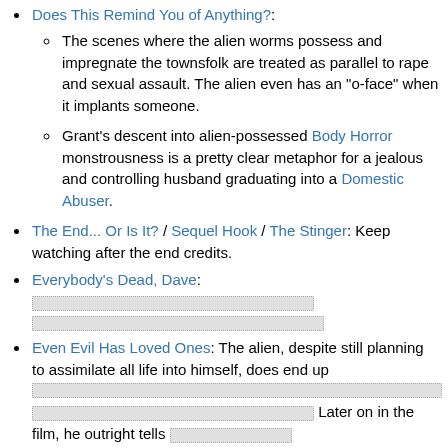Does This Remind You of Anything?: [sub-items follow]
The scenes where the alien worms possess and impregnate the townsfolk are treated as parallel to rape and sexual assault. The alien even has an "o-face" when it implants someone.
Grant's descent into alien-possessed Body Horror monstrousness is a pretty clear metaphor for a jealous and controlling husband graduating into a Domestic Abuser.
The End... Or Is It? / Sequel Hook / The Stinger: Keep watching after the end credits.
Everybody's Dead, Dave: [redacted content]
Even Evil Has Loved Ones: The alien, despite still planning to assimilate all life into himself, does end up [redacted] Later on in the film, he outright tells [redacted]